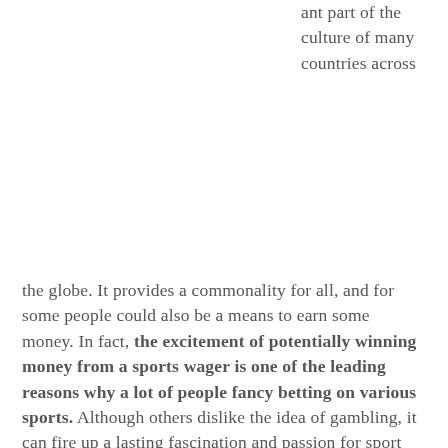ant part of the culture of many countries across the globe. It provides a commonality for all, and for some people could also be a means to earn some money. In fact, the excitement of potentially winning money from a sports wager is one of the leading reasons why a lot of people fancy betting on various sports. Although others dislike the idea of gambling, it can fire up a lasting fascination and passion for sport that spring from backyard sports.
Sports betting entails setting bets on certain sporting events to win an amount of money if they win the bet they have placed. When you place a bet on a player, on a team or on other types of sports wagers, there is a great risk of you losing the bet,